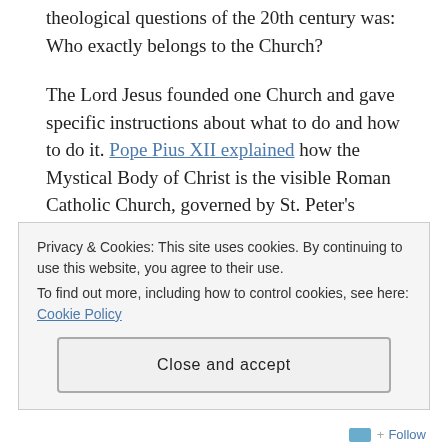theological questions of the 20th century was: Who exactly belongs to the Church?
The Lord Jesus founded one Church and gave specific instructions about what to do and how to do it. Pope Pius XII explained how the Mystical Body of Christ is the visible Roman Catholic Church, governed by St. Peter's successor in office. The invisible life of this visible Church is the Holy Spirit, given to us through the sacraments of faith.
But what about the holy fathers of old–and the holy
Privacy & Cookies: This site uses cookies. By continuing to use this website, you agree to their use.
To find out more, including how to control cookies, see here: Cookie Policy
Close and accept